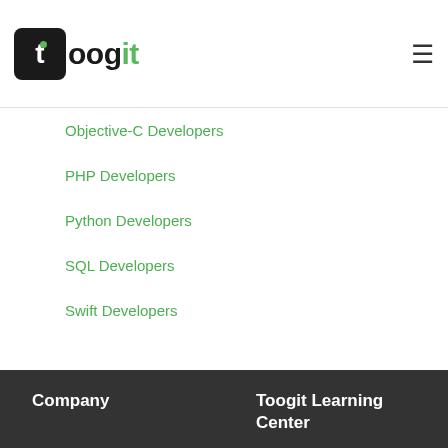toogit
Objective-C Developers
PHP Developers
Python Developers
SQL Developers
Swift Developers
Company | Toogit Learning Center